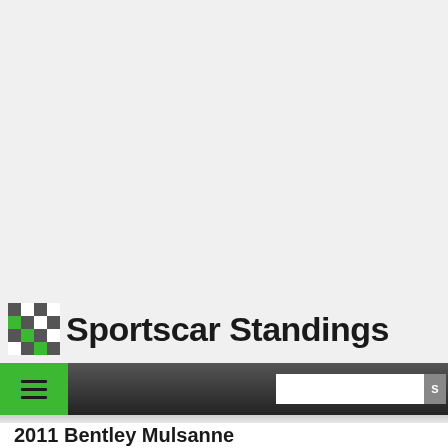[Figure (logo): Sportscar Standings website header with checkered flag logo and site title]
2011 Bentley Mulsanne